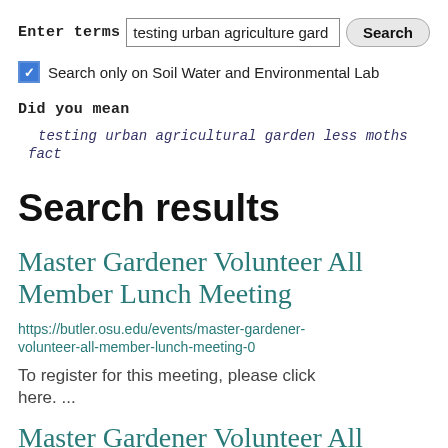Enter terms  testing urban agriculture gard  Search
Search only on Soil Water and Environmental Lab
Did you mean
testing urban agricultural garden less moths fact
Search results
Master Gardener Volunteer All Member Lunch Meeting
https://butler.osu.edu/events/master-gardener-volunteer-all-member-lunch-meeting-0
To register for this meeting, please click here. ...
Master Gardener Volunteer All